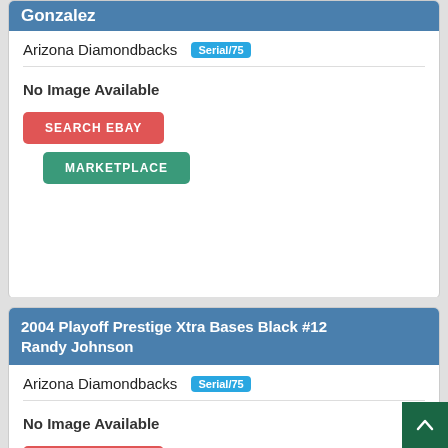Gonzalez
Arizona Diamondbacks Serial/75
No Image Available
SEARCH EBAY
MARKETPLACE
2004 Playoff Prestige Xtra Bases Black #12 Randy Johnson
Arizona Diamondbacks Serial/75
No Image Available
SEARCH EBAY
MARKETPLACE